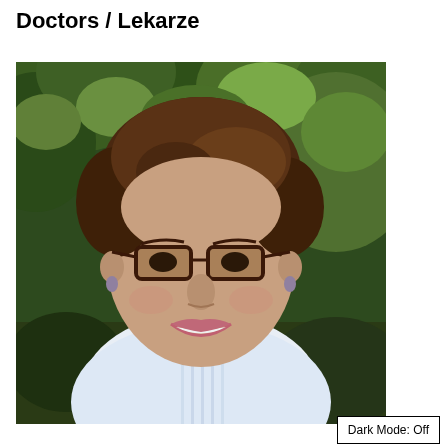Doctors / Lekarze
[Figure (photo): Portrait photo of a middle-aged woman with short brown hair and glasses, wearing a white blouse, smiling, with green foliage in the background.]
Dark Mode: Off